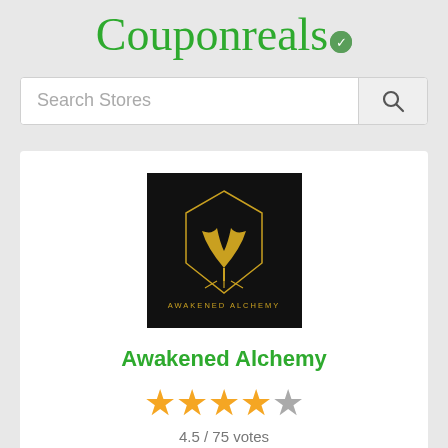Couponreals
Search Stores
[Figure (logo): Awakened Alchemy brand logo: black background with gold tree/shield emblem and text AWAKENED ALCHEMY]
Awakened Alchemy
4.5 / 75 votes
Rate it